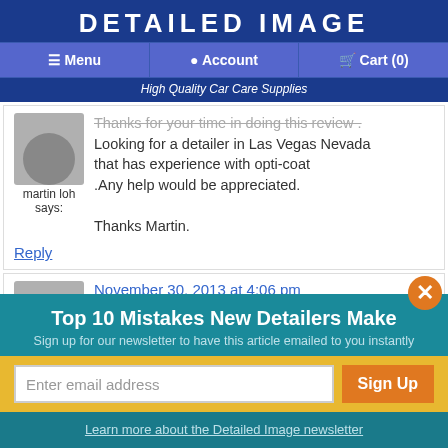DETAILED IMAGE
Menu  Account  Cart (0)
High Quality Car Care Supplies
Thanks for your time in doing this review . Looking for a detailer in Las Vegas Nevada that has experience with opti-coat .Any help would be appreciated. Thanks Martin.
martin loh says:
Reply
November 30, 2013 at 4:06 pm
Top 10 Mistakes New Detailers Make
Sign up for our newsletter to have this article emailed to you instantly
Enter email address
Sign Up
Learn more about the Detailed Image newsletter